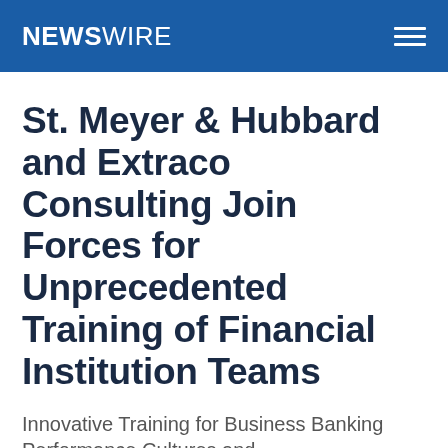NEWSWIRE
St. Meyer & Hubbard and Extraco Consulting Join Forces for Unprecedented Training of Financial Institution Teams
Innovative Training for Business Banking Performance Cultures and